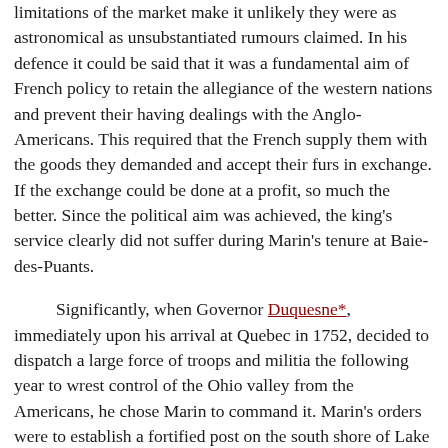limitations of the market make it unlikely they were as astronomical as unsubstantiated rumours claimed. In his defence it could be said that it was a fundamental aim of French policy to retain the allegiance of the western nations and prevent their having dealings with the Anglo-Americans. This required that the French supply them with the goods they demanded and accept their furs in exchange. If the exchange could be done at a profit, so much the better. Since the political aim was achieved, the king's service clearly did not suffer during Marin's tenure at Baie-des-Puants.
Significantly, when Governor Duquesne*, immediately upon his arrival at Quebec in 1752, decided to dispatch a large force of troops and militia the following year to wrest control of the Ohio valley from the Americans, he chose Marin to command it. Marin's orders were to establish a fortified post on the south shore of Lake Erie, construct a road to the head-waters of the Allegheny River, make the Rivière au Bœuf (French Creek) navigable, then establish a chain of forts to the Ohio River, and garrison